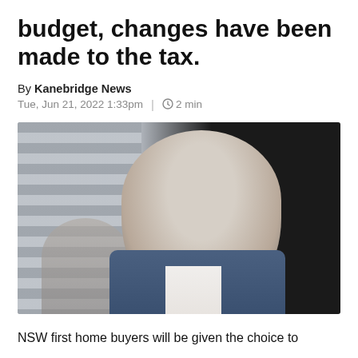budget, changes have been made to the tax.
By Kanebridge News
Tue, Jun 21, 2022 1:33pm | 2 min
[Figure (photo): Man in blue suit and glasses with grey hair, standing in front of shutters and a dark background, with another person blurred in the background.]
NSW first home buyers will be given the choice to